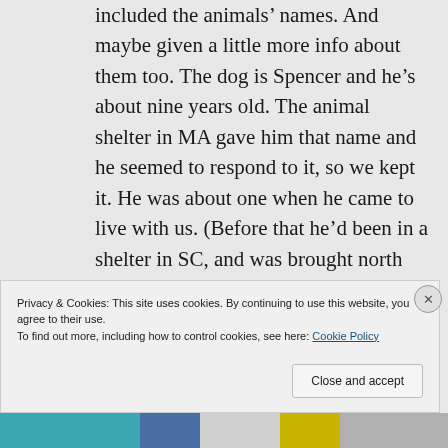included the animals' names. And maybe given a little more info about them too. The dog is Spencer and he's about nine years old. The animal shelter in MA gave him that name and he seemed to respond to it, so we kept it. He was about one when he came to live with us. (Before that he'd been in a shelter in SC, and was brought north by some animal advocates.) Over time, it became evident that he'd lived in a home at
Privacy & Cookies: This site uses cookies. By continuing to use this website, you agree to their use.
To find out more, including how to control cookies, see here: Cookie Policy
Close and accept